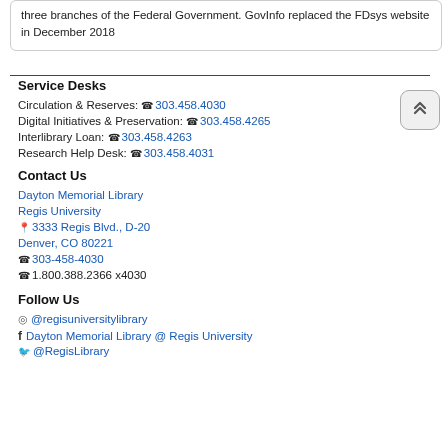three branches of the Federal Government. GovInfo replaced the FDsys website in December 2018
Service Desks
Circulation & Reserves: 303.458.4030
Digital Initiatives & Preservation: 303.458.4265
Interlibrary Loan: 303.458.4263
Research Help Desk: 303.458.4031
Contact Us
Dayton Memorial Library
Regis University
3333 Regis Blvd., D-20
Denver, CO 80221
303-458-4030
1.800.388.2366 x4030
Follow Us
@regisuniversitylibrary
Dayton Memorial Library @ Regis University
@RegisLibrary